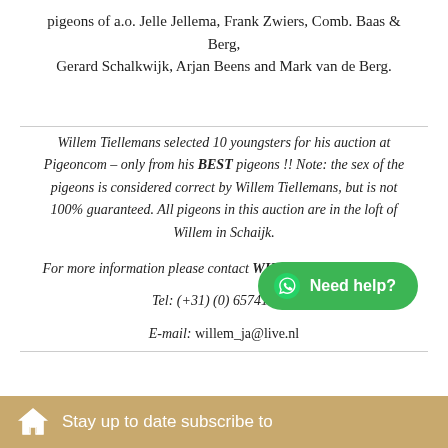pigeons of a.o. Jelle Jellema, Frank Zwiers, Comb. Baas & Berg, Gerard Schalkwijk, Arjan Beens and Mark van de Berg.
Willem Tiellemans selected 10 youngsters for his auction at Pigeoncom – only from his BEST pigeons !! Note: the sex of the pigeons is considered correct by Willem Tiellemans, but is not 100% guaranteed. All pigeons in this auction are in the loft of Willem in Schaijk.
For more information please contact WILLEM TIELLEMANS.
Tel: (+31) (0) 657418026
E-mail: willem_ja@live.nl
Stay up to date subscribe to